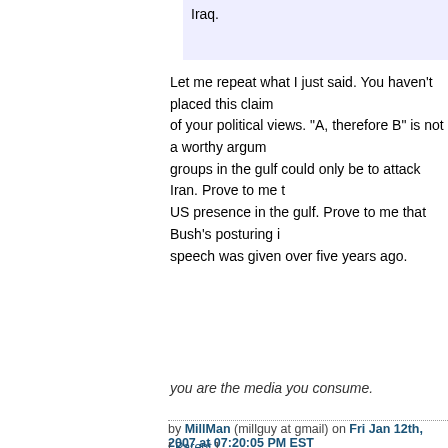Iraq.
Let me repeat what I just said. You haven't placed this claim of your political views. "A, therefore B" is not a worthy argum groups in the gulf could only be to attack Iran. Prove to me t US presence in the gulf. Prove to me that Bush's posturing i speech was given over five years ago.
you are the media you consume.
by MillMan (millguy at gmail) on Fri Jan 12th, 2007 at 07:20:05 PM EST
[ Parent ]
Re: The US is gearing up for an attack on Iran (none /
I agree that there is grounds for scepticism.
But you are implying in your last sentence that the Bush a attack Iran since Bush's "axis of evil" speech. This is clea frankly more than understandable based on the threateni Iran.